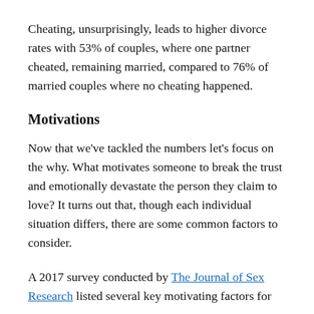Cheating, unsurprisingly, leads to higher divorce rates with 53% of couples, where one partner cheated, remaining married, compared to 76% of married couples where no cheating happened.
Motivations
Now that we've tackled the numbers let's focus on the why. What motivates someone to break the trust and emotionally devastate the person they claim to love? It turns out that, though each individual situation differs, there are some common factors to consider.
A 2017 survey conducted by The Journal of Sex Research listed several key motivating factors for